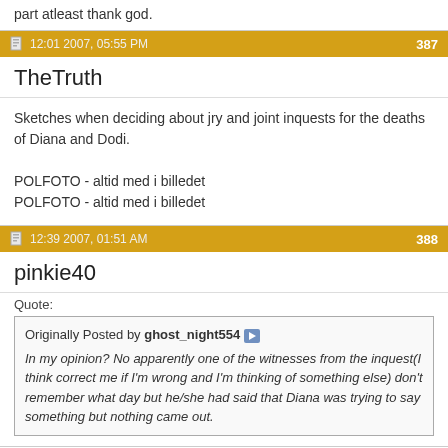part atleast thank god.
12:01 2007, 05:55 PM | 387
TheTruth
Sketches when deciding about jry and joint inquests for the deaths of Diana and Dodi.

POLFOTO - altid med i billedet
POLFOTO - altid med i billedet
12:39 2007, 01:51 AM | 388
pinkie40
Quote:
Originally Posted by ghost_night554
In my opinion? No apparently one of the witnesses from the inquest(I think correct me if I'm wrong and I'm thinking of something else) don't remember what day but he/she had said that Diana was trying to say something but nothing came out.